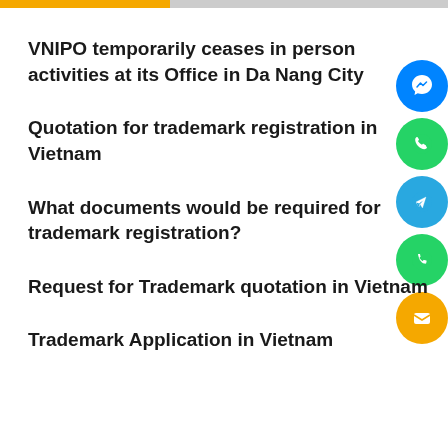VNIPO temporarily ceases in person activities at its Office in Da Nang City
Quotation for trademark registration in Vietnam
What documents would be required for trademark registration?
Request for Trademark quotation in Vietnam
Trademark Application in Vietnam
[Figure (infographic): Social media contact buttons: Messenger (blue), WhatsApp (green), Telegram (cyan), Phone (green), Email (yellow/gold)]